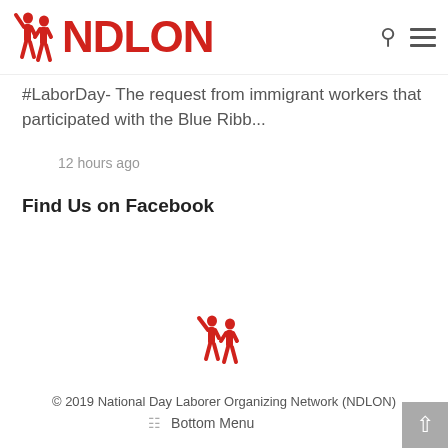NDLON
#LaborDay- The request from immigrant workers that participated with the Blue Ribb...
12 hours ago
Find Us on Facebook
[Figure (logo): NDLON red silhouette logo of two people]
© 2019 National Day Laborer Organizing Network (NDLON)
Bottom Menu